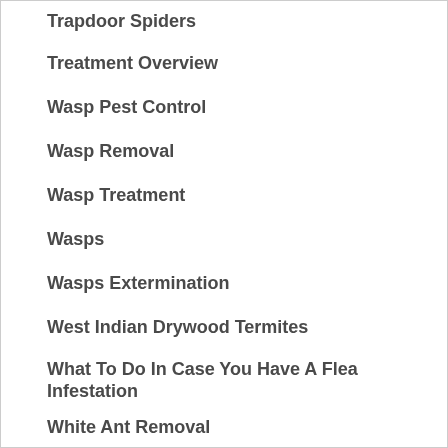Trapdoor Spiders
Treatment Overview
Wasp Pest Control
Wasp Removal
Wasp Treatment
Wasps
Wasps Extermination
West Indian Drywood Termites
What To Do In Case You Have A Flea Infestation
White Ant Removal